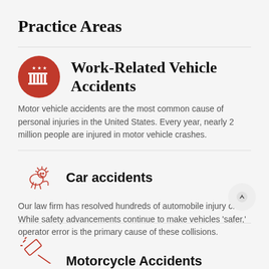Practice Areas
Work-Related Vehicle Accidents
Motor vehicle accidents are the most common cause of personal injuries in the United States. Every year, nearly 2 million people are injured in motor vehicle crashes.
Car accidents
Our law firm has resolved hundreds of automobile injury c... While safety advancements continue to make vehicles 'safer,' operator error is the primary cause of these collisions.
Motorcycle Accidents
[Figure (illustration): Red circular icon with a car/courthouse emblem and stars]
[Figure (illustration): Red outlined heraldic lion icon]
[Figure (illustration): Red outlined gavel/hammer icon]